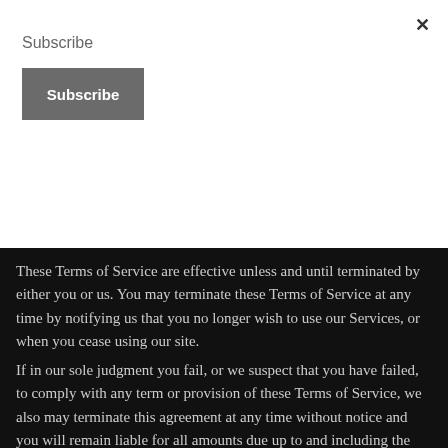Subscribe
Subscribe
These Terms of Service are effective unless and until terminated by either you or us. You may terminate these Terms of Service at any time by notifying us that you no longer wish to use our Services, or when you cease using our site.
If in our sole judgment you fail, or we suspect that you have failed, to comply with any term or provision of these Terms of Service, we also may terminate this agreement at any time without notice and you will remain liable for all amounts due up to and including the date of termination; and/or accordingly may deny you access to our Services (or any part thereof).